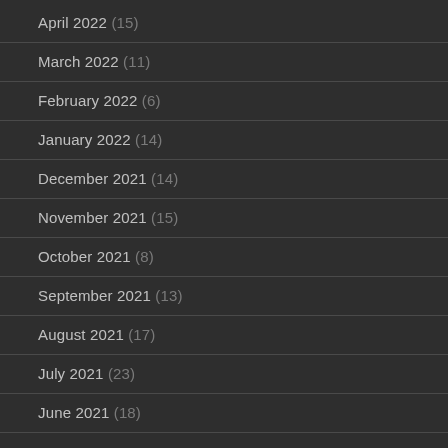April 2022 (15)
March 2022 (11)
February 2022 (6)
January 2022 (14)
December 2021 (14)
November 2021 (15)
October 2021 (8)
September 2021 (13)
August 2021 (17)
July 2021 (23)
June 2021 (18)